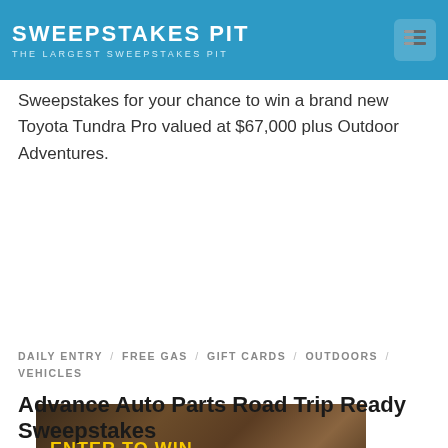SWEEPSTAKES PIT — THE LARGEST SWEEPSTAKES PIT
Sweepstakes for your chance to win a brand new Toyota Tundra Pro valued at $67,000 plus Outdoor Adventures.
[Figure (photo): Advertisement banner showing a person driving with a cowboy hat, with text 'ENTER TO WIN a Camping World Grand Prize Package or a First Prize Destination Vacation' and an 'ENTER NOW' button.]
DAILY ENTRY / FREE GAS / GIFT CARDS / OUTDOORS / VEHICLES
Advance Auto Parts Road Trip Ready Sweepstakes